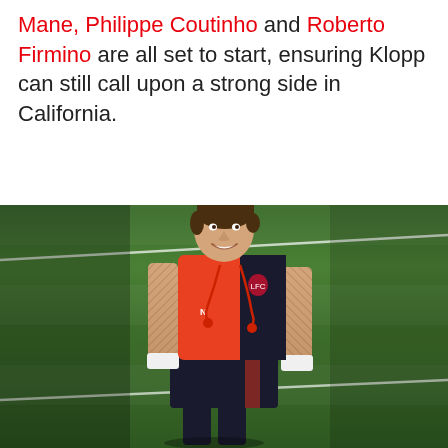Mane, Philippe Coutinho and Roberto Firmino are all set to start, ensuring Klopp can still call upon a strong side in California.
[Figure (photo): A Liverpool FC player wearing an orange training vest with black panel, showing tattoo-covered arms, smiling on a green training pitch in California.]